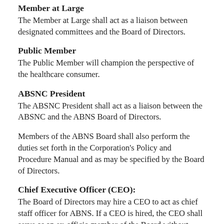Member at Large
The Member at Large shall act as a liaison between designated committees and the Board of Directors.
Public Member
The Public Member will champion the perspective of the healthcare consumer.
ABSNC President
The ABSNC President shall act as a liaison between the ABSNC and the ABNS Board of Directors.
Members of the ABNS Board shall also perform the duties set forth in the Corporation's Policy and Procedure Manual and as may be specified by the Board of Directors.
Chief Executive Officer (CEO):
The Board of Directors may hire a CEO to act as chief staff officer for ABNS. If a CEO is hired, the CEO shall serve as an ex-officio member of the Board without power to vote. The CEO shall have